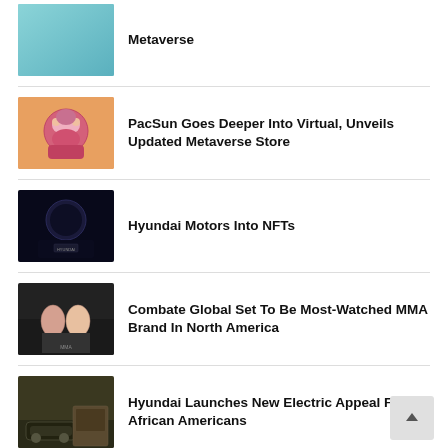Metaverse
PacSun Goes Deeper Into Virtual, Unveils Updated Metaverse Store
Hyundai Motors Into NFTs
Combate Global Set To Be Most-Watched MMA Brand In North America
Hyundai Launches New Electric Appeal For African Americans